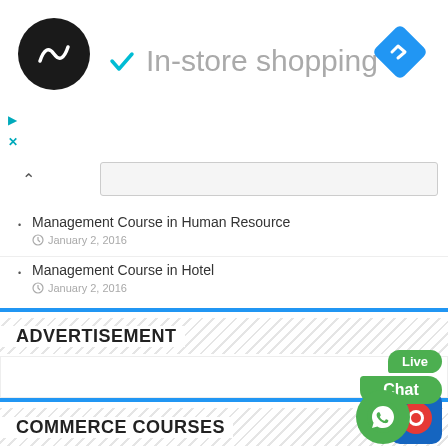[Figure (screenshot): Top ad banner showing a black circular logo with infinity-like symbol, a teal checkmark, 'In-store shopping' text, and a blue diamond navigation icon on the right. Small play and X icons on the left below.]
Management Course in Human Resource
January 2, 2016
Management Course in Hotel
January 2, 2016
ADVERTISEMENT
COMMERCE COURSES
Commerce Course in Company Secretaryship
January 1, 2016
Commerce Course in Chartered Financial Analysis